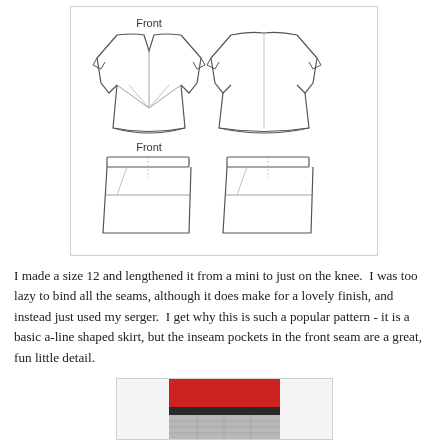[Figure (illustration): Sewing pattern technical drawing showing front and back views of a top with batwing sleeves and V-neckline, plus front and back views of an A-line mini skirt with waistband and inseam pockets. Labels 'Front' appear above the top and skirt views.]
I made a size 12 and lengthened it from a mini to just on the knee.  I was too lazy to bind all the seams, although it does make for a lovely finish, and instead just used my serger.  I get why this is such a popular pattern - it is a basic a-line shaped skirt, but the inseam pockets in the front seam are a great, fun little detail.
[Figure (photo): Photo showing a person wearing a red top and a grey/white patterned skirt with a dark waistband.]